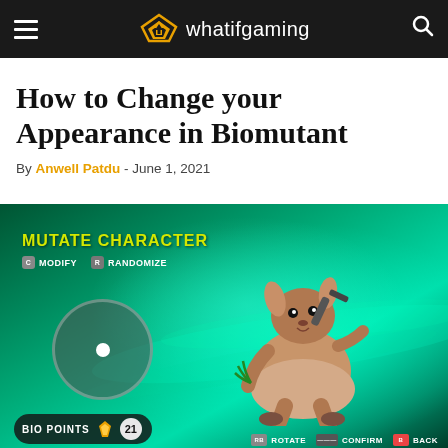whatifgaming
How to Change your Appearance in Biomutant
By Anwell Patdu - June 1, 2021
[Figure (screenshot): Biomutant game screenshot showing the Mutate Character screen with a mutant creature character, a joystick circle UI element, MODIFY and RANDOMIZE buttons, BIO POINTS counter showing 21, and ROTATE/CONFIRM/BACK action buttons at the bottom right. The background is a teal/green gradient.]